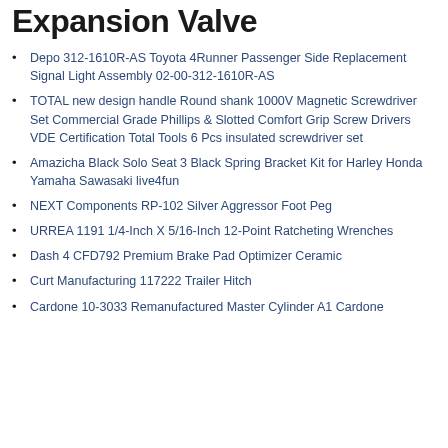Expansion Valve
Depo 312-1610R-AS Toyota 4Runner Passenger Side Replacement Signal Light Assembly 02-00-312-1610R-AS
TOTAL new design handle Round shank 1000V Magnetic Screwdriver Set Commercial Grade Phillips & Slotted Comfort Grip Screw Drivers VDE Certification Total Tools 6 Pcs insulated screwdriver set
Amazicha Black Solo Seat 3 Black Spring Bracket Kit for Harley Honda Yamaha Sawasaki live4fun
NEXT Components RP-102 Silver Aggressor Foot Peg
URREA 1191 1/4-Inch X 5/16-Inch 12-Point Ratcheting Wrenches
Dash 4 CFD792 Premium Brake Pad Optimizer Ceramic
Curt Manufacturing 117222 Trailer Hitch
Cardone 10-3033 Remanufactured Master Cylinder A1 Cardone